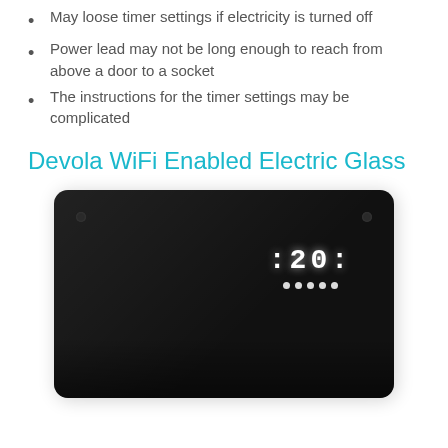May loose timer settings if electricity is turned off
Power lead may not be long enough to reach from above a door to a socket
The instructions for the timer settings may be complicated
Devola WiFi Enabled Electric Glass
[Figure (photo): A black rectangular electric glass panel heater with rounded corners, showing a digital display reading '20' in white dot-matrix style digits with indicator dots below, and small circular screws in top-left and top-right corners.]